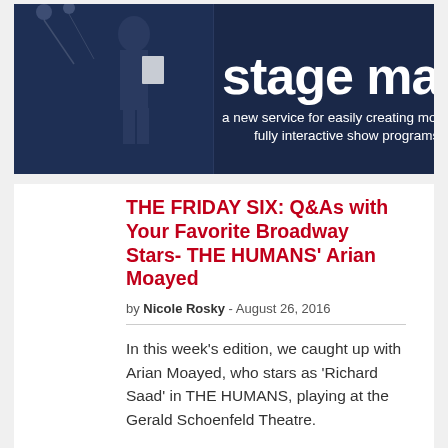[Figure (illustration): Stage Mag advertisement banner with dark blue background, a person holding papers on stage, text 'stage mag' in large white letters and tagline 'a new service for easily creating modern, fully interactive show programs']
THE FRIDAY SIX: Q&As with Your Favorite Broadway Stars- THE HUMANS' Arian Moayed
by Nicole Rosky - August 26, 2016
In this week's edition, we caught up with Arian Moayed, who stars as 'Richard Saad' in THE HUMANS, playing at the Gerald Schoenfeld Theatre.